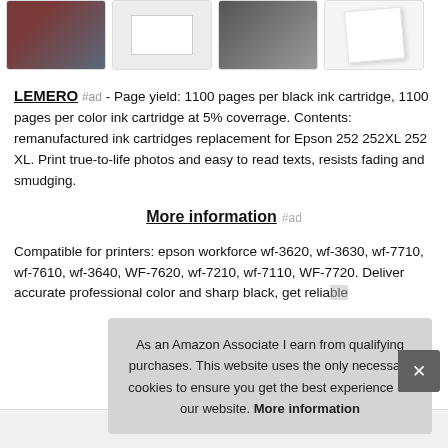[Figure (photo): Strip of 4 product thumbnail images: person in red jersey, product box on white background, ink cartridges on dark background, white book/box on white background]
LEMERO #ad - Page yield: 1100 pages per black ink cartridge, 1100 pages per color ink cartridge at 5% coverrage. Contents: remanufactured ink cartridges replacement for Epson 252 252XL 252 XL. Print true-to-life photos and easy to read texts, resists fading and smudging.
More information #ad
Compatible for printers: epson workforce wf-3620, wf-3630, wf-7710, wf-7610, wf-3640, WF-7620, wf-7210, wf-7110, WF-7720. Deliver accurate professional color and sharp black, get relia...
As an Amazon Associate I earn from qualifying purchases. This website uses the only necessary cookies to ensure you get the best experience on our website. More information